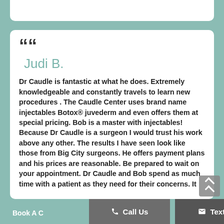Judi B.

Dr Caudle is fantastic at what he does. Extremely knowledgeable and constantly travels to learn new procedures . The Caudle Center uses brand name injectables Botox® juvederm and even offers them at special pricing. Bob is a master with injectables! Because Dr Caudle is a surgeon I would trust his work above any other. The results I have seen look like those from Big City surgeons. He offers payment plans and his prices are reasonable. Be prepared to wait on your appointment. Dr Caudle and Bob spend as much time with a patient as they need for their concerns. It
Book A C... the... tion you